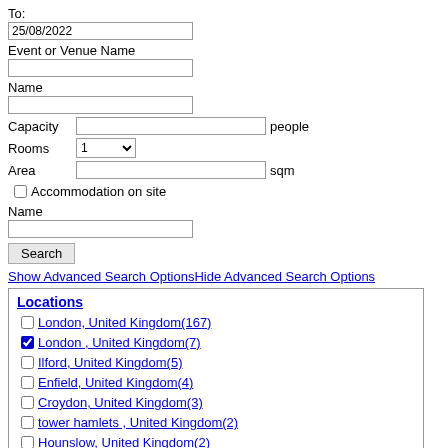To:
25/08/2022
Event or Venue Name
Name
Capacity    people
Rooms   1
Area    sqm
Accommodation on site
Name
Search
Show Advanced Search OptionsHide Advanced Search Options
Locations
London, United Kingdom(167)
London , United Kingdom(7)
Ilford, United Kingdom(5)
Enfield, United Kingdom(4)
Croydon, United Kingdom(3)
tower hamlets , United Kingdom(2)
Hounslow, United Kingdom(2)